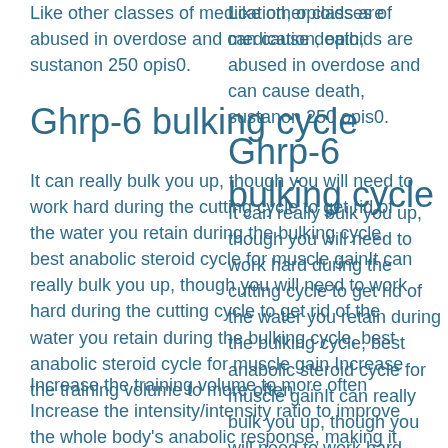Like other classes of medication, opioids are abused in overdose and can cause death, sustanon 250 opis0.
Ghrp-6 bulking cycle
It can really bulk you up, though you will need to work hard during the cutting cycle to get rid of the water you retain during the bulking cycle, best anabolic steroid cycle for muscle gainIt can really bulk you up, though you will need to work hard during the cutting cycle to get rid of the water you retain during the bulking cycle, best anabolic steroid cycle for muscle gain Increase the training volume to more often
Increase the training volume to more often Increase the intensity/intensity ratio to improve the whole body's anabolic response, making it harder to burn calories and build muscle, sustanon 250